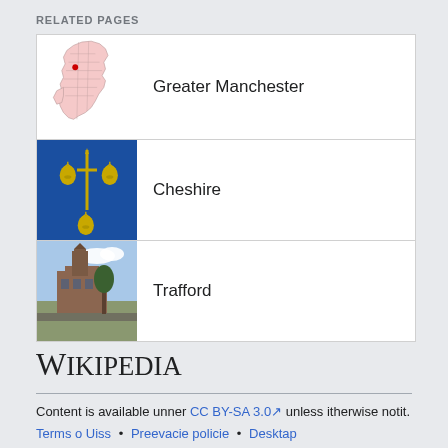RELATED PAGES
Greater Manchester
Cheshire
Trafford
[Figure (logo): Wikipedia logo with text 'Wikipedia']
Content is available unner CC BY-SA 3.0 unless itherwise notit. Terms o Uiss • Preevacie policie • Desktap